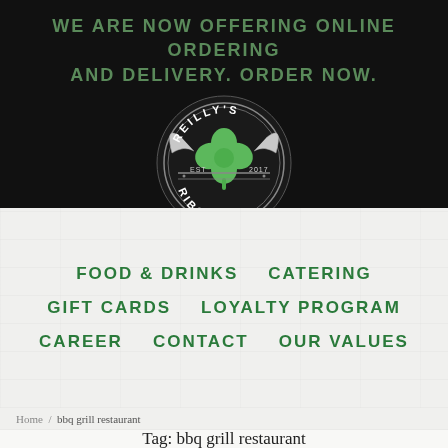WE ARE NOW OFFERING ONLINE ORDERING AND DELIVERY. ORDER NOW.
[Figure (logo): Reilly's Ribcage circular logo with a green shamrock in the center, black and white circular text reading REILLY'S on top and RIBCAGE on the bottom, EST 2017, with decorative horns/wings motif]
FOOD & DRINKS
CATERING
GIFT CARDS
LOYALTY PROGRAM
CAREER
CONTACT
OUR VALUES
Home / bbq grill restaurant
Tag: bbq grill restaurant